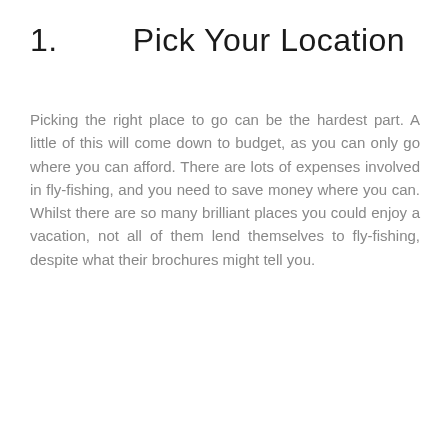1.        Pick Your Location
Picking the right place to go can be the hardest part. A little of this will come down to budget, as you can only go where you can afford. There are lots of expenses involved in fly-fishing, and you need to save money where you can. Whilst there are so many brilliant places you could enjoy a vacation, not all of them lend themselves to fly-fishing, despite what their brochures might tell you.